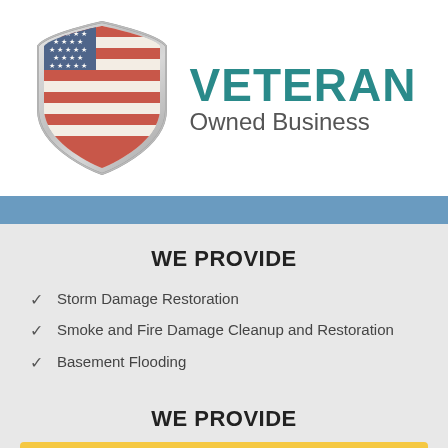[Figure (logo): Shield-shaped badge with American flag design (stars and stripes in red, white, blue) with metallic silver border]
VETERAN
Owned Business
WE PROVIDE
Storm Damage Restoration
Smoke and Fire Damage Cleanup and Restoration
Basement Flooding
WE PROVIDE
Tap to Call (202) 792-7425
Water D…